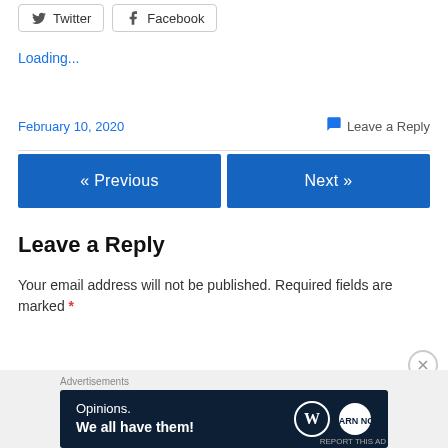[Figure (other): Social share buttons: Twitter and Facebook]
Loading...
February 10, 2020
Leave a Reply
[Figure (other): Navigation buttons: « Previous and Next »]
Leave a Reply
Your email address will not be published. Required fields are marked *
[Figure (other): Advertisement banner: Opinions. We all have them! with WordPress and other logos]